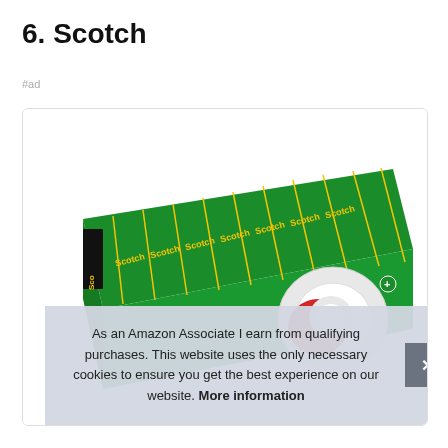6. Scotch
#ad
[Figure (photo): A green multi-pack box of Scotch tape rolls, shown at an angle with the Scotch brand logo visible in yellow text on green background, with tape rolls visible on the front face.]
As an Amazon Associate I earn from qualifying purchases. This website uses the only necessary cookies to ensure you get the best experience on our website. More information